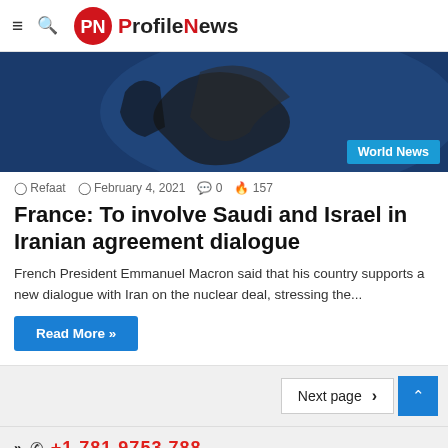ProfileNews
[Figure (photo): Close-up of hands gesturing, person wearing dark clothing, with 'World News' badge overlay]
Refaat  February 4, 2021  0  157
France: To involve Saudi and Israel in Iranian agreement dialogue
French President Emmanuel Macron said that his country supports a new dialogue with Iran on the nuclear deal, stressing the...
Read More »
Next page
>> +1 781 9753 788